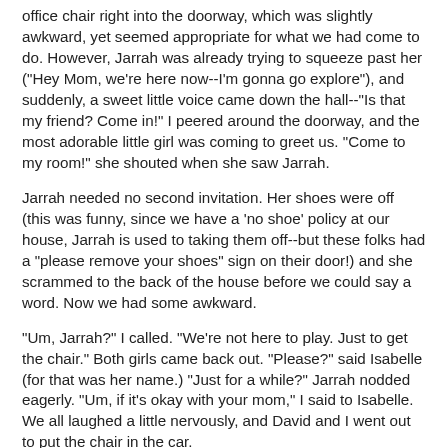office chair right into the doorway, which was slightly awkward, yet seemed appropriate for what we had come to do. However, Jarrah was already trying to squeeze past her ("Hey Mom, we're here now--I'm gonna go explore"), and suddenly, a sweet little voice came down the hall--"Is that my friend? Come in!" I peered around the doorway, and the most adorable little girl was coming to greet us. "Come to my room!" she shouted when she saw Jarrah.
Jarrah needed no second invitation. Her shoes were off (this was funny, since we have a 'no shoe' policy at our house, Jarrah is used to taking them off--but these folks had a "please remove your shoes" sign on their door!) and she scrammed to the back of the house before we could say a word. Now we had some awkward.
"Um, Jarrah?" I called. "We're not here to play. Just to get the chair." Both girls came back out. "Please?" said Isabelle (for that was her name.) "Just for a while?" Jarrah nodded eagerly. "Um, if it's okay with your mom," I said to Isabelle. We all laughed a little nervously, and David and I went out to put the chair in the car.